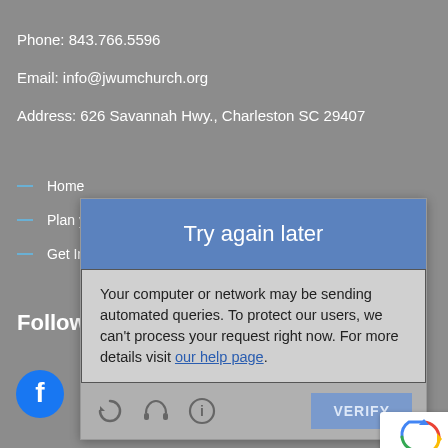Phone:  843.766.5596
Email:  info@jwumchurch.org
Address:  626 Savannah Hwy., Charleston SC 29407
Home
Plan your visit
Get Involved
Follow Us
[Figure (screenshot): Modal dialog with header 'Try again later' and body text about automated queries, with icons and VERIFY button]
[Figure (logo): reCAPTCHA badge with Privacy and Terms links]